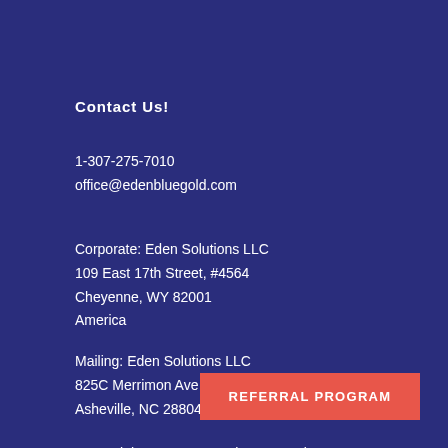Contact Us!
1-307-275-7010
office@edenbluegold.com
Corporate: Eden Solutions LLC
109 East 17th Street, #4564
Cheyenne, WY 82001
America
Mailing: Eden Solutions LLC
825C Merrimon Ave S225
Asheville, NC 28804
NC Freight Storage: Appointment Only
400 Hickory Dr
Mars Hill, NC 28754
REFERRAL PROGRAM